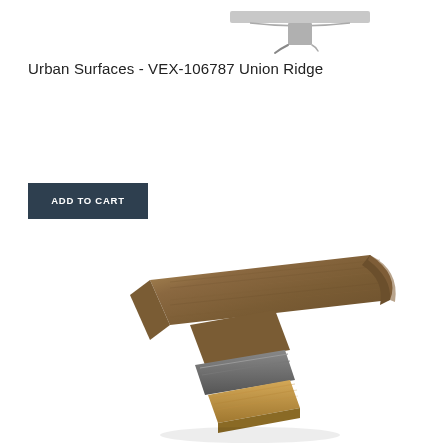[Figure (photo): Top view of a flooring trim piece cross-section profile, showing a T-shaped or cap molding in gray/silver finish]
Urban Surfaces - VEX-106787 Union Ridge
ADD TO CART
[Figure (photo): T-molding flooring transition strip in brown wood grain finish, angled view showing the T-shape profile with metal track underneath]